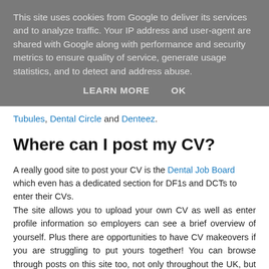This site uses cookies from Google to deliver its services and to analyze traffic. Your IP address and user-agent are shared with Google along with performance and security metrics to ensure quality of service, generate usage statistics, and to detect and address abuse.
LEARN MORE   OK
Tubules, Dental Circle and Denteez.
Where can I post my CV?
A really good site to post your CV is the Dental Job Board which even has a dedicated section for DF1s and DCTs to enter their CVs.
The site allows you to upload your own CV as well as enter profile information so employers can see a brief overview of yourself. Plus there are opportunities to have CV makeovers if you are struggling to put yours together! You can browse through posts on this site too, not only throughout the UK, but internationally too.